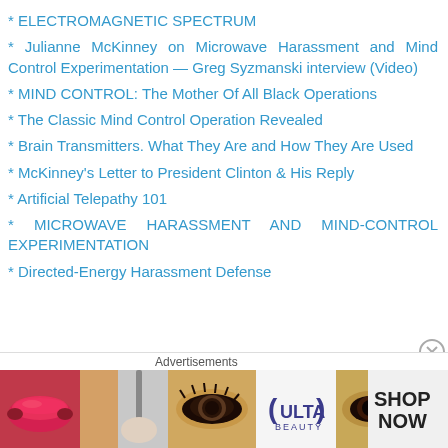* ELECTROMAGNETIC SPECTRUM
* Julianne McKinney on Microwave Harassment and Mind Control Experimentation — Greg Syzmanski interview (Video)
* MIND CONTROL: The Mother Of All Black Operations
* The Classic Mind Control Operation Revealed
* Brain Transmitters. What They Are and How They Are Used
* McKinney's Letter to President Clinton & His Reply
* Artificial Telepathy 101
* MICROWAVE HARASSMENT AND MIND-CONTROL EXPERIMENTATION
* Directed-Energy Harassment Defense
Advertisements
[Figure (other): Ulta Beauty advertisement banner showing cosmetic product imagery with makeup and eyes, with SHOP NOW button]